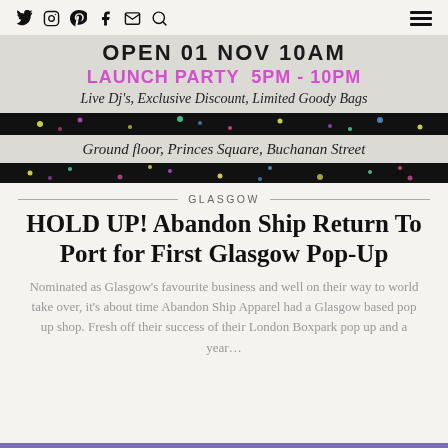Social icons: Twitter, Instagram, Pinterest, Facebook, Email, Search | Hamburger menu
[Figure (infographic): Promotional banner for Abandon Ship pop-up: OPEN 01 NOV 10AM, LAUNCH PARTY 5PM - 10PM, Live Dj's, Exclusive Discount, Limited Goody Bags, black confetti strip, Ground floor, Princes Square, Buchanan Street, second black confetti strip]
GLASGOW
HOLD UP! Abandon Ship Return To Port for First Glasgow Pop-Up
Nominated as Glasgow's favourite business and well on their way to world take over, it's about time Abandon Ship Apparel had a Glasgow based pop up shop. Fresh off their success of their London Boxpark pop up and a year...